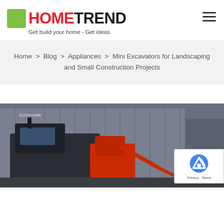[Figure (logo): HomeTrend logo with green square icon, HOME in red, TREND in black, tagline 'Get build your home - Get ideas']
Home > Blog > Appliances > Mini Excavators for Landscaping and Small Construction Projects
[Figure (photo): Photo of mini excavators in a construction/warehouse yard with grey corrugated building in background. Orange/red excavator visible.]